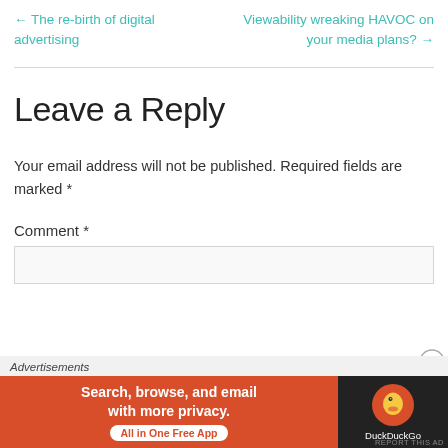← The re-birth of digital advertising
Viewability wreaking HAVOC on your media plans? →
Leave a Reply
Your email address will not be published. Required fields are marked *
Comment *
[Figure (screenshot): DuckDuckGo advertisement banner: orange section with text 'Search, browse, and email with more privacy.' and 'All in One Free App' button; dark section with DuckDuckGo duck logo and text 'DuckDuckGo']
Advertisements
REPORT THIS AD